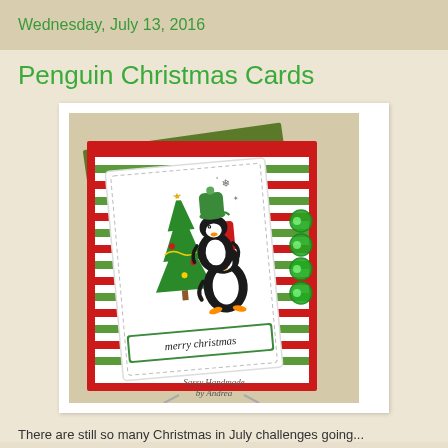Wednesday, July 13, 2016
Penguin Christmas Cards
[Figure (photo): A handmade Christmas card featuring two stacked cartoon penguins with winter hats next to a decorated Christmas tree, on striped red and green paper background with green tree-patterned paper, green gem embellishments, and a 'merry Christmas' sentiment banner. Card is displayed on a card stand. Watermark reads 'Sassy Handmade by Andrea'.]
There are still so many Christmas in July challenges going...